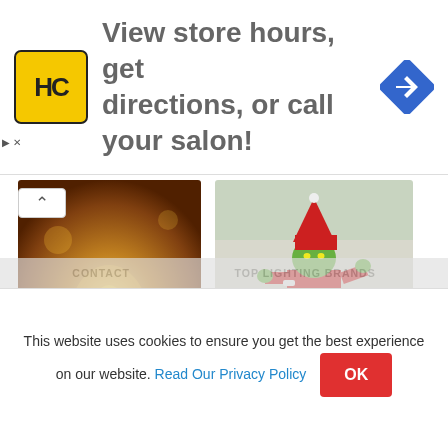[Figure (other): Advertisement banner for HC (Hair Club or similar) salon: yellow square logo with HC letters, text 'View store hours, get directions, or call your salon!', blue diamond navigation arrow icon]
[Figure (photo): Two thumbnail images side by side: left image shows warm golden/orange nature/lamp scene, right image shows person dressed as The Grinch in red and green costume outdoors]
MAGIC LAMPS THAT WILL CREATE COZINESS [UPDATE JANUARY 2022]
OUTDOOR CHRISTMAS GRINCH LIGHTS FOR YOUR HOME
[Figure (other): Red 'Buy Now' button overlaying the two text links]
This website uses cookies to ensure you get the best experience on our website. Read Our Privacy Policy OK
CONTACT    TOP LIGHTING BRANDS